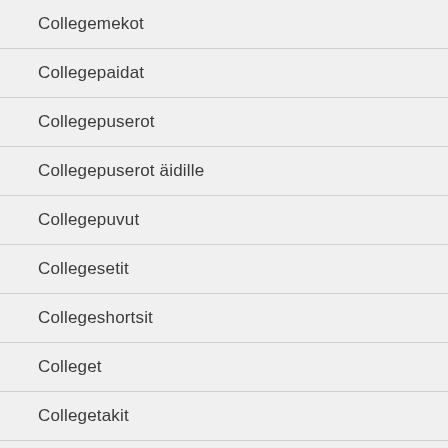Collegemekot
Collegepaidat
Collegepuserot
Collegepuserot äidille
Collegepuvut
Collegesetit
Collegeshortsit
Colleget
Collegetakit
Colleget...